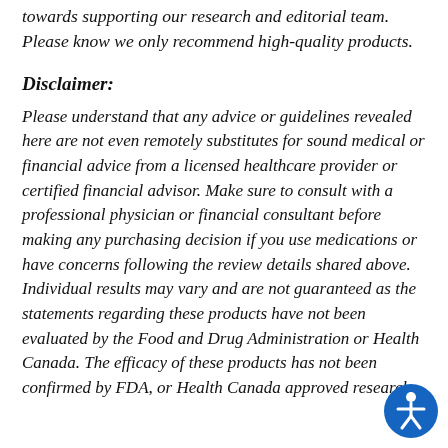towards supporting our research and editorial team. Please know we only recommend high-quality products.
Disclaimer:
Please understand that any advice or guidelines revealed here are not even remotely substitutes for sound medical or financial advice from a licensed healthcare provider or certified financial advisor. Make sure to consult with a professional physician or financial consultant before making any purchasing decision if you use medications or have concerns following the review details shared above. Individual results may vary and are not guaranteed as the statements regarding these products have not been evaluated by the Food and Drug Administration or Health Canada. The efficacy of these products has not been confirmed by FDA, or Health Canada approved research.